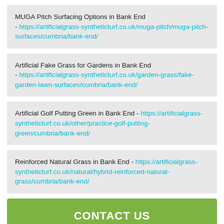MUGA Pitch Surfacing Options in Bank End - https://artificialgrass-syntheticturf.co.uk/muga-pitch/muga-pitch-surfaces/cumbria/bank-end/
Artificial Fake Grass for Gardens in Bank End - https://artificialgrass-syntheticturf.co.uk/garden-grass/fake-garden-lawn-surfaces/cumbria/bank-end/
Artificial Golf Putting Green in Bank End - https://artificialgrass-syntheticturf.co.uk/other/practice-golf-putting-green/cumbria/bank-end/
Reinforced Natural Grass in Bank End - https://artificialgrass-syntheticturf.co.uk/natural/hybrid-reinforced-natural-grass/cumbria/bank-end/
CONTACT US